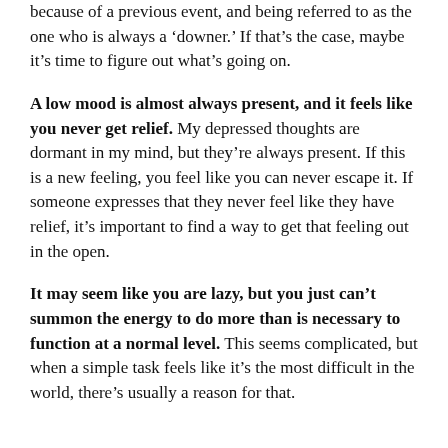because of a previous event, and being referred to as the one who is always a ‘downer.’ If that’s the case, maybe it’s time to figure out what’s going on.
A low mood is almost always present, and it feels like you never get relief. My depressed thoughts are dormant in my mind, but they’re always present. If this is a new feeling, you feel like you can never escape it. If someone expresses that they never feel like they have relief, it’s important to find a way to get that feeling out in the open.
It may seem like you are lazy, but you just can’t summon the energy to do more than is necessary to function at a normal level. This seems complicated, but when a simple task feels like it’s the most difficult in the world, there’s usually a reason for that.